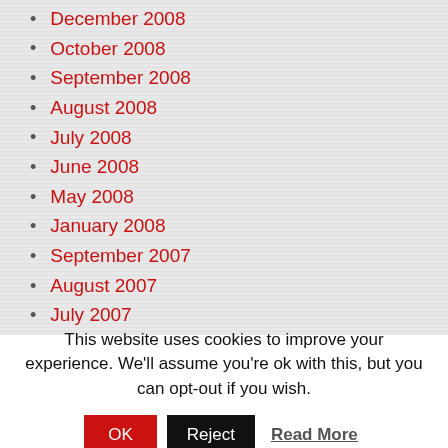December 2008
October 2008
September 2008
August 2008
July 2008
June 2008
May 2008
January 2008
September 2007
August 2007
July 2007
May 2007
April 2007
March 2007
This website uses cookies to improve your experience. We'll assume you're ok with this, but you can opt-out if you wish.